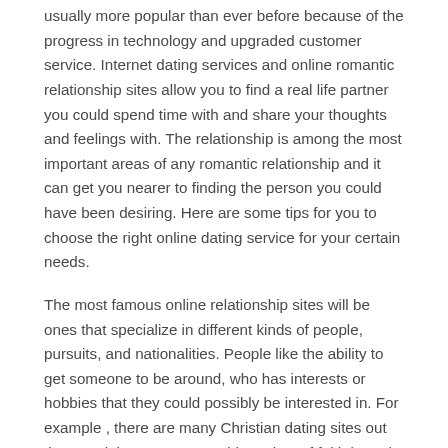usually more popular than ever before because of the progress in technology and upgraded customer service. Internet dating services and online romantic relationship sites allow you to find a real life partner you could spend time with and share your thoughts and feelings with. The relationship is among the most important areas of any romantic relationship and it can get you nearer to finding the person you could have been desiring. Here are some tips for you to choose the right online dating service for your certain needs.
The most famous online relationship sites will be ones that specialize in different kinds of people, pursuits, and nationalities. People like the ability to get someone to be around, who has interests or hobbies that they could possibly be interested in. For example , there are many Christian dating sites out there and they serve to a wide variety of faith based interests. There are Chinese internet dating sites and the options are just